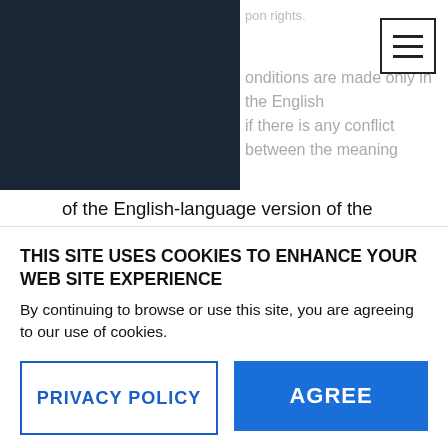vGIS [logo]
onditions are made only in the English If there is any conflict between the meaning of the English-language version of the Conditions and the meaning of any version or translation of the Conditions in any other language, the English-language version shall prevail.
14.4 If any portion of the Conditions is illegal or unenforceable, such portion(s) shall be excluded from them to the minimum extent required, and the balance of
THIS SITE USES COOKIES TO ENHANCE YOUR WEB SITE EXPERIENCE
By continuing to browse or use this site, you are agreeing to our use of cookies.
PRIVACY POLICY
AGREE